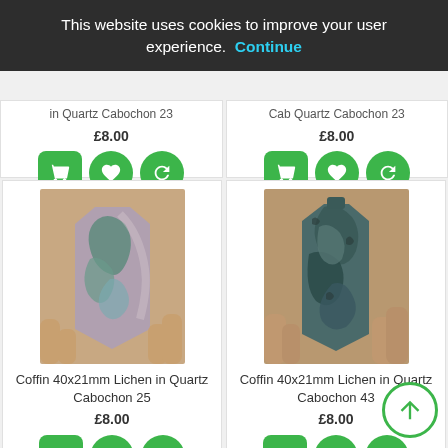This website uses cookies to improve your user experience. Continue
in Quartz Cabochon 23
£8.00
£8.00
[Figure (photo): Coffin-shaped Lichen in Quartz Cabochon 25 stone held in fingers, pinkish-grey with blue-green lichen inclusions]
Coffin 40x21mm Lichen in Quartz Cabochon 25
£8.00
[Figure (photo): Coffin-shaped Lichen in Quartz Cabochon 43 stone held in fingers, dark teal/grey with lichen texture]
Coffin 40x21mm Lichen in Quartz Cabochon 43
£8.00